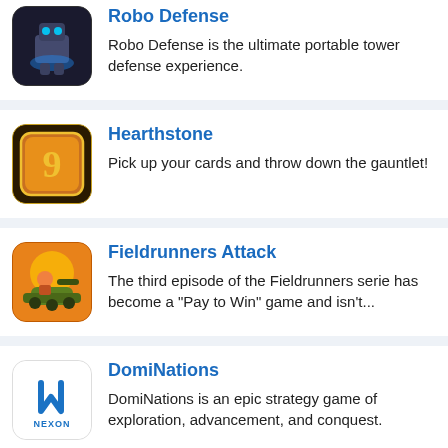[Figure (illustration): Robo Defense app icon - robot with blue glow]
Robo Defense
Robo Defense is the ultimate portable tower defense experience.
[Figure (illustration): Hearthstone app icon - golden swirl card]
Hearthstone
Pick up your cards and throw down the gauntlet!
[Figure (illustration): Fieldrunners Attack app icon - character on tank]
Fieldrunners Attack
The third episode of the Fieldrunners serie has become a "Pay to Win" game and isn't...
[Figure (logo): DomiNations app icon - Nexon logo]
DomiNations
DomiNations is an epic strategy game of exploration, advancement, and conquest.